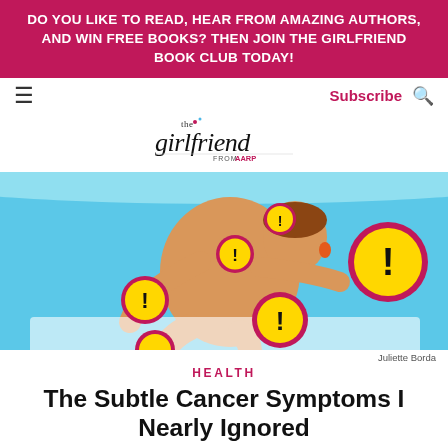DO YOU LIKE TO READ, HEAR FROM AMAZING AUTHORS, AND WIN FREE BOOKS? THEN JOIN THE GIRLFRIEND BOOK CLUB TODAY!
Subscribe
[Figure (logo): The Girlfriend from AARP logo]
[Figure (illustration): Illustrated woman in a pool/blue background with multiple yellow warning exclamation mark signs overlaid on her body, indicating cancer symptoms]
Juliette Borda
HEALTH
The Subtle Cancer Symptoms I Nearly Ignored